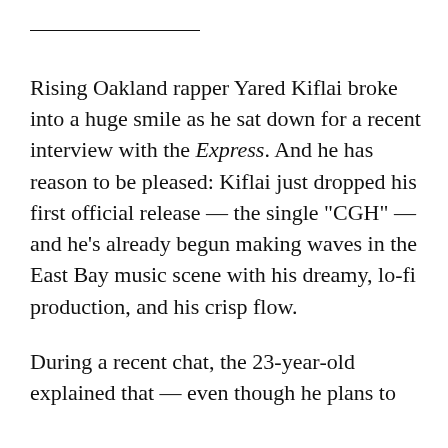Rising Oakland rapper Yared Kiflai broke into a huge smile as he sat down for a recent interview with the Express. And he has reason to be pleased: Kiflai just dropped his first official release — the single “CGH” — and he’s already begun making waves in the East Bay music scene with his dreamy, lo-fi production, and his crisp flow.
During a recent chat, the 23-year-old explained that — even though he plans to